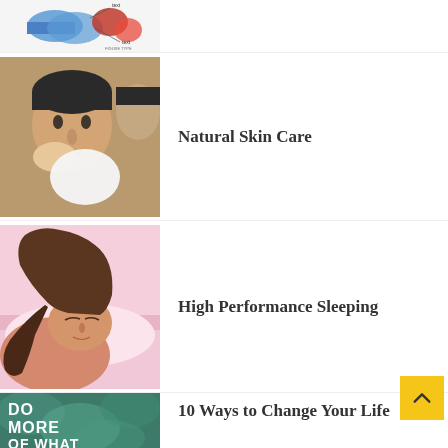[Figure (illustration): Partial cropped image visible at top of page, appears to be a medical/anatomy diagram with blue and red coloring]
[Figure (photo): Man examining his face skin in a mirror, touching his cheek with a white towel, another person partially visible]
Natural Skin Care
[Figure (photo): Woman with brown hair sleeping on pink bedding/pillow, eyes closed, relaxed expression]
High Performance Sleeping
[Figure (illustration): Teal/green motivational poster with text: DO MORE OF WHAT MAKES YOU]
10 Ways to Change Your Life